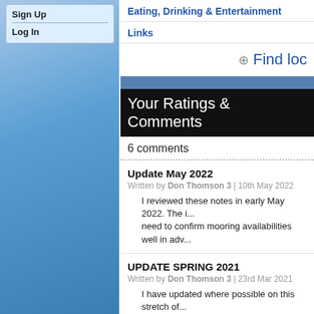Sign Up
Log In
Eating, Drinking & Entertainment
Links
Find loc
Your Ratings & Comments
6 comments
Update May 2022
Written by Don Thomson 3 | 10th May 2022
I reviewed these notes in early May 2022. The i... need to confirm mooring availabilities well in adv...
UPDATE SPRING 2021
Written by Don Thomson 3 | 23rd Mar 2021
I have updated where possible on this stretch of... to ensure space and price.
UPDATE SPRING 2018
Written by Don Thomson | 3rd Apr 2018
Prices have increased since we last updated thi...